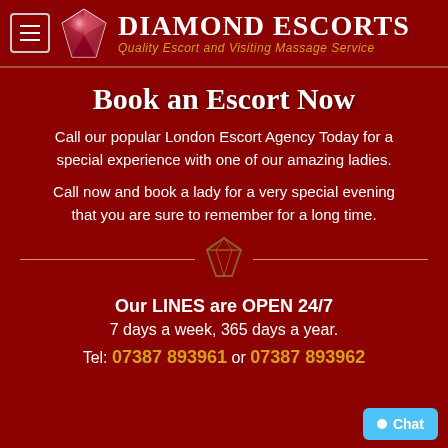Diamond Escorts — Quality Escort and Visiting Massage Service
Book an Escort Now
Call our popular London Escort Agency Today for a special experience with one of our amazing ladies.
Call now and book a lady for a very special evening that you are sure to remember for a long time.
[Figure (illustration): Diamond/gem outline icon used as decorative divider element]
Our LINES are OPEN 24/7
7 days a week, 365 days a year.
Tel: 07387 893961 or 07387 893962